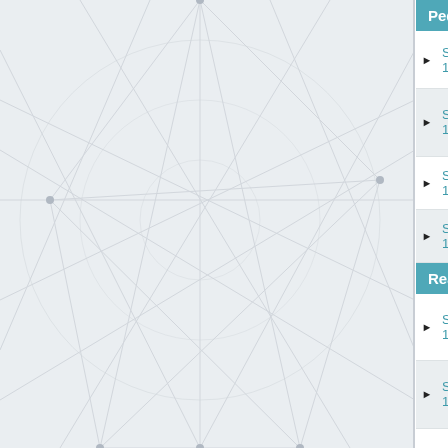[Figure (illustration): Light grey background with network/geometric line pattern (bicycle wheel spokes overlapping triangular network lines)]
Pedals
Shimano PD-1050, 105 | Shimano | PD-1050 | 105 1050 Series
Shimano PD-1051, 105 | Shimano | PD-1051 | 105 1050 Series
Shimano PD-1055, 105SC | Shimano | PD-1055 | 105SC
Shimano PD-1056, 105SC | Shimano | PD-1056 | 105SC
Rear Derailleurs
Shimano RD-1050, 105 | Shimano | RD-1050 | 105 1050 Series
Shimano RD-1051, 105 | Shimano | RD-1051 | 105 1050 Series
Shimano RD-5500, 105 5500 Series | Shimano | RD-5500 | 105 5500 Series
Shimano RD-A105, 105 Golden Arrow | Shimano | RD-A105 | 105 Golden Arrow
1  2  Next